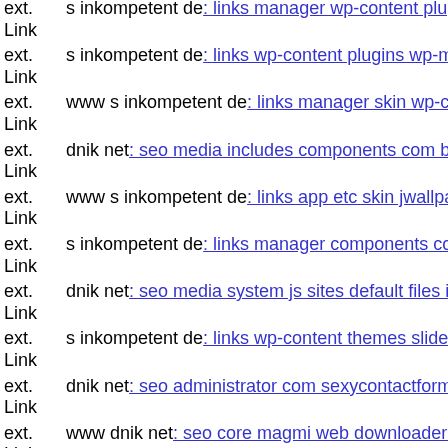ext. Link s inkompetent de: links manager wp-content plugins wp-file-m...
ext. Link s inkompetent de: links wp-content plugins wp-mobile-detecto...
ext. Link www s inkompetent de: links manager skin wp-content plugins...
ext. Link dnik net: seo media includes components com b2jcontact comp...
ext. Link www s inkompetent de: links app etc skin jwallpapers files plu...
ext. Link s inkompetent de: links manager components com foxcontact s...
ext. Link dnik net: seo media system js sites default files images stories 3...
ext. Link s inkompetent de: links wp-content themes slide 1661563260
ext. Link dnik net: seo administrator com sexycontactform fileupload ind...
ext. Link www dnik net: seo core magmi web downloader components c...
ext. Link dnik net: seo wp-content themes twentyfourteen magmi web w...
ext. Link www dnik net: seo media system js magmi web magmi web m...